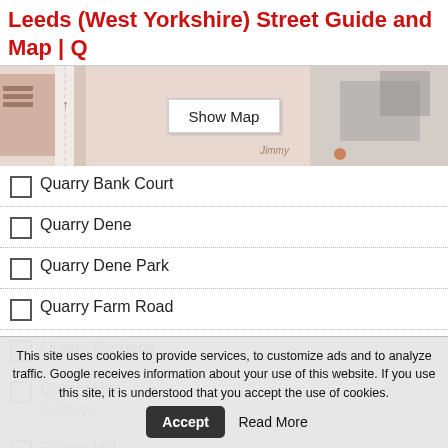Leeds (West Yorkshire) Street Guide and Map | Q
[Figure (map): Street map thumbnail of Leeds West Yorkshire showing road layout with a 'Show Map' button overlay]
Quarry Bank Court
Quarry Dene
Quarry Dene Park
Quarry Farm Road
Quarry Gardens
Quarry Hill (tertiary)
Quarry Hill
This site uses cookies to provide services, to customize ads and to analyze traffic. Google receives information about your use of this website. If you use this site, it is understood that you accept the use of cookies.
Accept
Read More